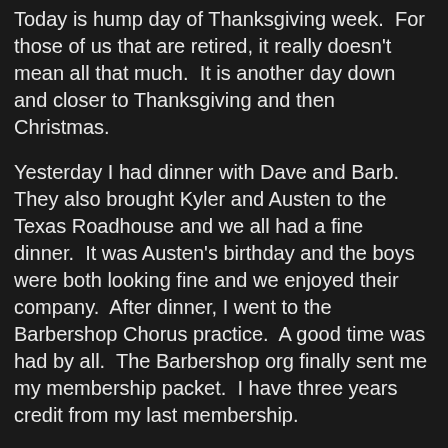Today is hump day of Thanksgiving week. For those of us that are retired, it really doesn't mean all that much. It is another day down and closer to Thanksgiving and then Christmas.
Yesterday I had dinner with Dave and Barb. They also brought Kyler and Austen to the Texas Roadhouse and we all had a fine dinner. It was Austen's birthday and the boys were both looking fine and we enjoyed their company. After dinner, I went to the Barbershop Chorus practice. A good time was had by all. The Barbershop org finally sent me my membership packet. I have three years credit from my last membership.
The thing a lot of the guys don't realize is that I am a natural Bass and the last time I sang with them I was a Baritone. The words are all the same but the notes are different. For this year's music I am just starting out. For the Christmas music I want to revert to the